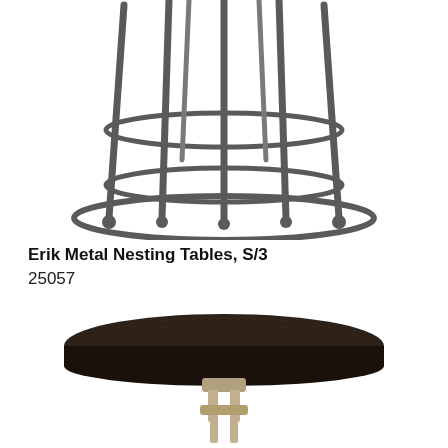[Figure (photo): Bottom portion of a set of metal nesting tables with a dark gunmetal/charcoal cage-style cylindrical frame, showing the lower legs connected by two horizontal rings and a circular base ring on a white background.]
Erik Metal Nesting Tables, S/3
25057
[Figure (photo): A round dark brown/espresso wood-top accent table with a silver/champagne metal adjustable pedestal base, shown from above on a white background.]